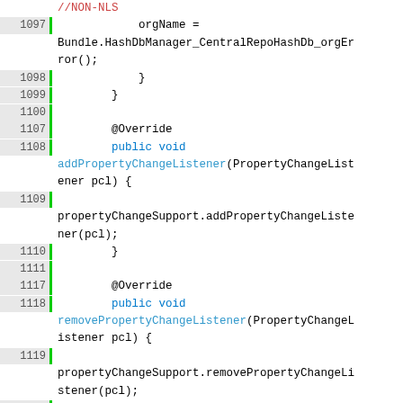[Figure (screenshot): Java source code editor showing lines 1097-1129 with syntax highlighting. Green line number gutter, code includes methods addPropertyChangeListener, removePropertyChangeListener, hasIndexOnly, getHashSetName.]